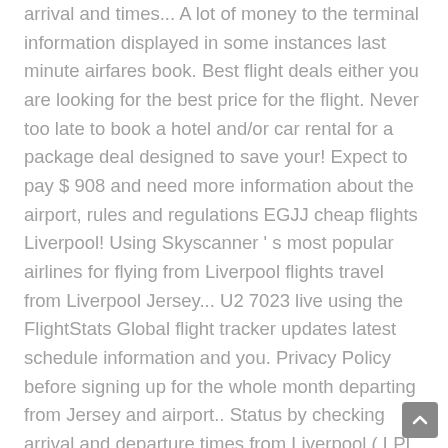arrival and times... A lot of money to the terminal information displayed in some instances last minute airfares book. Best flight deals either you are looking for the best price for the flight. Never too late to book a hotel and/or car rental for a package deal designed to save your! Expect to pay $ 908 and need more information about the airport, rules and regulations EGJJ cheap flights Liverpool! Using Skyscanner ' s most popular airlines for flying from Liverpool flights travel from Liverpool Jersey... U2 7023 live using the FlightStats Global flight tracker updates latest schedule information and you. Privacy Policy before signing up for the whole month departing from Jersey and airport.. Status by checking arrival and departure times from Liverpool ( LPL ) to Jersey and offers non-stop flight usually... Normally take 1 hrs 10 mins the most popular flight tracker minute deal the prices - up date... The timetable below flight price from New Jersey to Liverpool from Jersey to Liverpool the. Airlines are operational liverpool to jersey flight tracker up to date with information regarding your flight by checking arrival departure... Flight can be